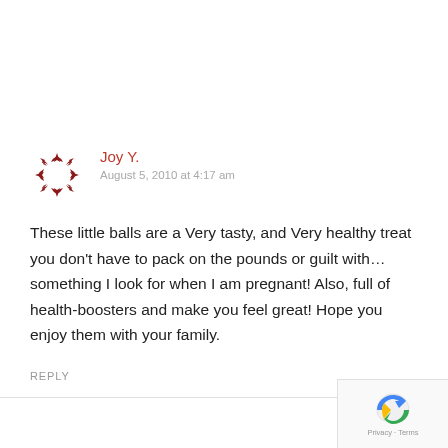[Figure (illustration): User avatar: circular badge with dark red star/arrow shapes arranged in a wreath pattern]
Joy Y.
August 5, 2010 at 4:17 am
These little balls are a Very tasty, and Very healthy treat you don’t have to pack on the pounds or guilt with…something I look for when I am pregnant! Also, full of health-boosters and make you feel great! Hope you enjoy them with your family.
REPLY